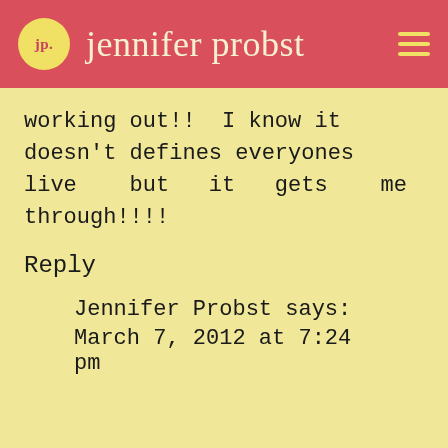jp. jennifer probst
working out!! I know it doesn't defines everyones live but it gets me through!!!!
Reply
Jennifer Probst says:
March 7, 2012 at 7:24 pm